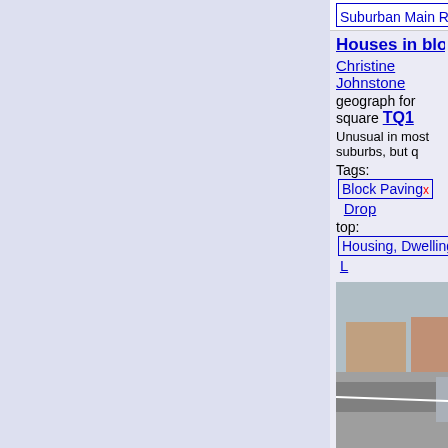Suburban Main Road x  Wi...
Houses in blocks of thr... Christine Johnstone geograph for square TQ1... Unusual in most suburbs, but q... Tags: Block Paving x  Drop... top: Housing, Dwellings x  L... Pavement x  Row of 3 Ho... Row of Three Houses x  su... top: Suburb, Urban Fringe x  Suburban Road x
[Figure (photo): Street view showing suburban road with houses, block paving pavement, and cars]
Traffic calming on Vigo... geograph for square NZ2... A pinch point and speed cushio... Rickleton Primary School in... ( Tags: Pinch Point x  top: Ro... Speed Cushions x  Street x Suburb  top: Suburb, Urban... Traffic Calming x
[Figure (photo): Street view with traffic calming measures, speed cushions, trees and parked vehicles]
Newcastle-under-Lyme...